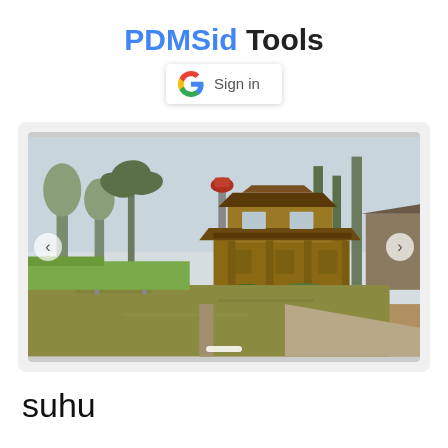PDMSid Tools
[Figure (screenshot): Google Sign in button with G logo]
[Figure (photo): A traditional wooden house with a pond/water channel in the foreground, surrounded by trees and greenery. Navigation arrows visible on left and right sides. Dot indicator at bottom center.]
suhu